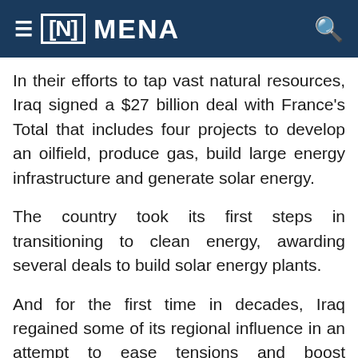≡ [N] MENA 🔍
In their efforts to tap vast natural resources, Iraq signed a $27 billion deal with France's Total that includes four projects to develop an oilfield, produce gas, build large energy infrastructure and generate solar energy.
The country took its first steps in transitioning to clean energy, awarding several deals to build solar energy plants.
And for the first time in decades, Iraq regained some of its regional influence in an attempt to ease tensions and boost cooperation.
Baghdad hosted several meetings between Iran and Saudi Arabia as well as a regional